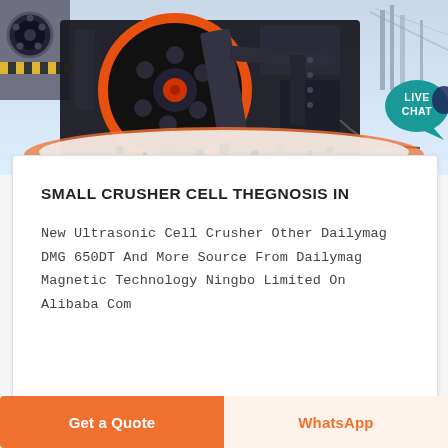[Figure (photo): Industrial jaw crusher machine with a large black flywheel with orange ring, set on crushed white stone aggregate, with industrial structures in background. A 'LIVE CHAT' speech bubble overlay is in the upper right.]
SMALL CRUSHER CELL THEGNOSIS IN
New Ultrasonic Cell Crusher Other Dailymag DMG 650DT And More Source From Dailymag Magnetic Technology Ningbo Limited On Alibaba Com
Get a Quote
WhatsApp